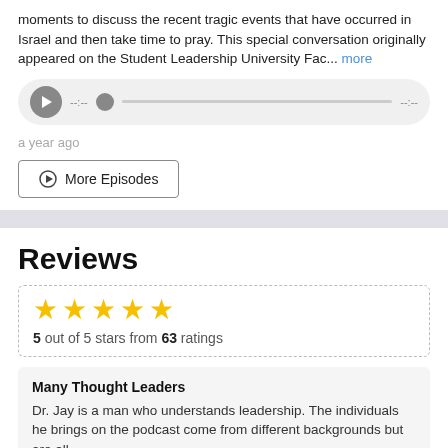moments to discuss the recent tragic events that have occurred in Israel and then take time to pray. This special conversation originally appeared on the Student Leadership University Fac... more
[Figure (other): Audio player with play button, timeline scrubber, timestamps showing --:-- and --:--]
a year ago
More Episodes
Reviews
5 out of 5 stars from 63 ratings
Many Thought Leaders
Dr. Jay is a man who understands leadership. The individuals he brings on the podcast come from different backgrounds but are all